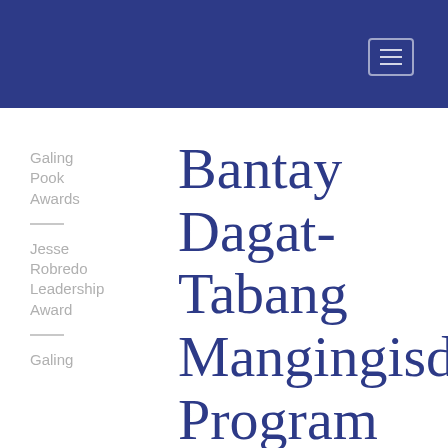Galing Pook Awards
Jesse Robredo Leadership Award
Galing
Bantay Dagat-Tabang Mangingisda Program